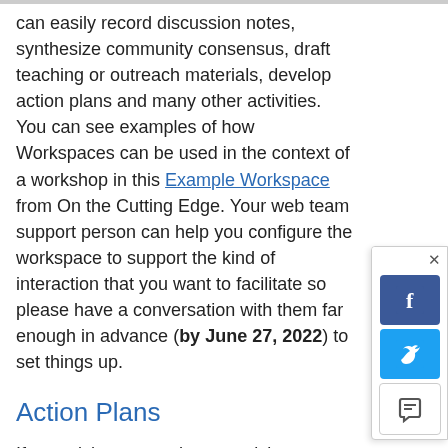can easily record discussion notes, synthesize community consensus, draft teaching or outreach materials, develop action plans and many other activities. You can see examples of how Workspaces can be used in the context of a workshop in this Example Workspace from On the Cutting Edge. Your web team support person can help you configure the workspace to support the kind of interaction that you want to facilitate so please have a conversation with them far enough in advance (by June 27, 2022) to set things up.
Action Plans
If you wish, you can have participants complete and upload an Action Plan for what they will do with what they learned in your workshop. We have a generic Action Plan Template (Microsoft Word 26kB Jun15 15) that you can use directly or customize for your workshop. If you want to make use of the